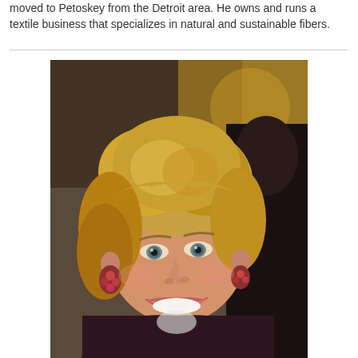moved to Petoskey from the Detroit area. He owns and runs a textile business that specializes in natural and sustainable fibers.
[Figure (photo): Portrait photo of a smiling woman with short blonde hair, wearing decorative earrings and a dark top, photographed in an indoor setting.]